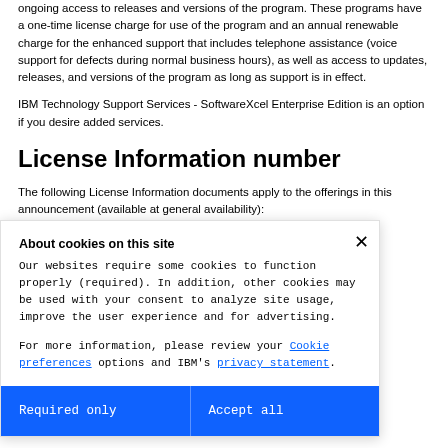ongoing access to releases and versions of the program. These programs have a one-time license charge for use of the program and an annual renewable charge for the enhanced support that includes telephone assistance (voice support for defects during normal business hours), as well as access to updates, releases, and versions of the program as long as support is in effect.
IBM Technology Support Services - SoftwareXcel Enterprise Edition is an option if you desire added services.
License Information number
The following License Information documents apply to the offerings in this announcement (available at general availability):
About cookies on this site
Our websites require some cookies to function properly (required). In addition, other cookies may be used with your consent to analyze site usage, improve the user experience and for advertising.

For more information, please review your Cookie preferences options and IBM's privacy statement.